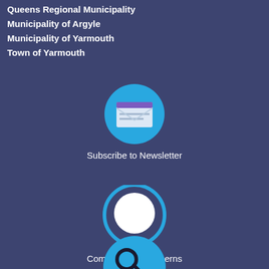Queens Regional Municipality
Municipality of Argyle
Municipality of Yarmouth
Town of Yarmouth
[Figure (illustration): Blue circle icon with envelope/newsletter symbol]
Subscribe to Newsletter
[Figure (illustration): Blue outlined circle with white speech bubble icon]
Comments or Concerns
[Figure (illustration): Blue circle icon with key symbol]